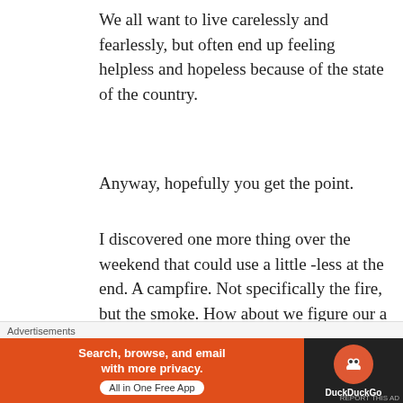We all want to live carelessly and fearlessly, but often end up feeling helpless and hopeless because of the state of the country.
Anyway, hopefully you get the point.
I discovered one more thing over the weekend that could use a little -less at the end. A campfire. Not specifically the fire, but the smoke. How about we figure our a scientific way to make those things smokeless?
Yes, I know, if you make them hot enough they
[Figure (other): DuckDuckGo advertisement banner with orange left panel reading 'Search, browse, and email with more privacy. All in One Free App' and dark right panel with DuckDuckGo logo and name.]